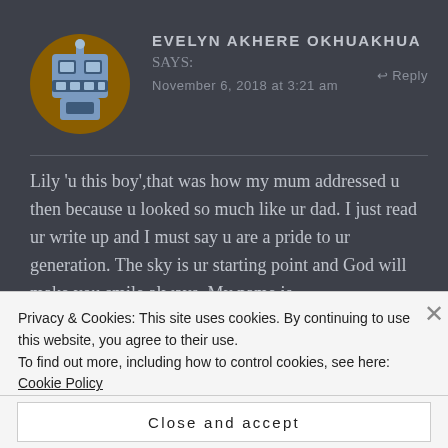[Figure (illustration): Circular brown avatar icon with pixelated robot face graphic in blue/grey tones]
EVELYN AKHERE OKHUAKHUA says:
November 6, 2018 at 3:21 am
↵ Reply
Lily 'u this boy',that was how my mum addressed u then because u looked so much like ur dad. I just read ur write up and I must say u are a pride to ur generation. The sky is ur starting point and God will make you smile always. My name is
Privacy & Cookies: This site uses cookies. By continuing to use this website, you agree to their use.
To find out more, including how to control cookies, see here: Cookie Policy
Close and accept